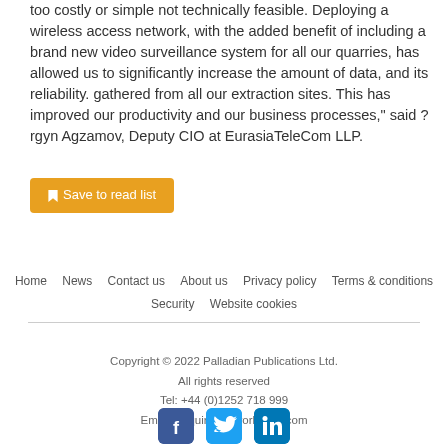too costly or simple not technically feasible. Deploying a wireless access network, with the added benefit of including a brand new video surveillance system for all our quarries, has allowed us to significantly increase the amount of data, and its reliability. gathered from all our extraction sites. This has improved our productivity and our business processes," said ?rgyn Agzamov, Deputy CIO at EurasiaTeleCom LLP.
Save to read list
Home   News   Contact us   About us   Privacy policy   Terms & conditions   Security   Website cookies
Copyright © 2022 Palladian Publications Ltd.
All rights reserved
Tel: +44 (0)1252 718 999
Email: enquiries@worldcoal.com
[Figure (other): Social media icons: Facebook, Twitter, LinkedIn]